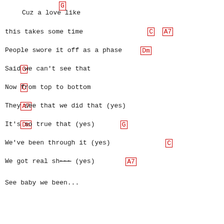G
Cuz a love like
C    A7
this takes some time
Dm
People swore it off as a phase
G
Said we can't see that
C
Now from top to bottom
A7
They see that we did that (yes)
Dm               G
It's so true that (yes)
C
We've been through it (yes)
A7
We got real sh~~~ (yes)
See baby we been...